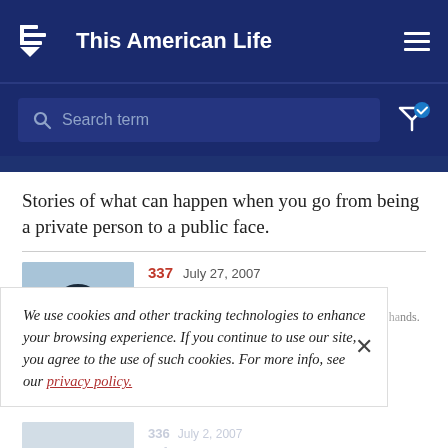This American Life
Search term
Stories of what can happen when you go from being a private person to a public face.
[Figure (photo): Thumbnail image of episode 337]
337 July 27, 2007
Man vs. History
Stories about people taking history into their own hands.
We use cookies and other tracking technologies to enhance your browsing experience. If you continue to use our site, you agree to the use of such cookies. For more info, see our privacy policy.
[Figure (photo): Thumbnail image of episode 336]
336 July 2, 2007
Who Can You Save?
Stories about the pitfalls of trying to do the right thing